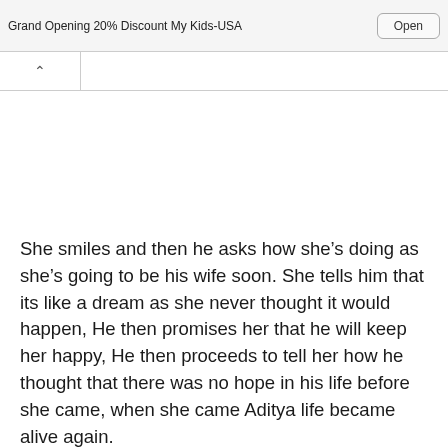Grand Opening 20% Discount My Kids-USA | Open
She smiles and then he asks how she's doing as she's going to be his wife soon. She tells him that its like a dream as she never thought it would happen, He then promises her that he will keep her happy, He then proceeds to tell her how he thought that there was no hope in his life before she came, when she came Aditya life became alive again.